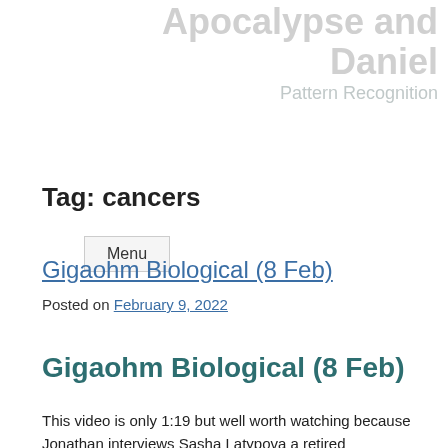Apocalypse and Daniel Pattern Recognition
Menu
Tag: cancers
Gigaohm Biological (8 Feb)
Posted on February 9, 2022
Gigaohm Biological (8 Feb)
This video is only 1:19 but well worth watching because Jonathan interviews Sasha Latypova a retired